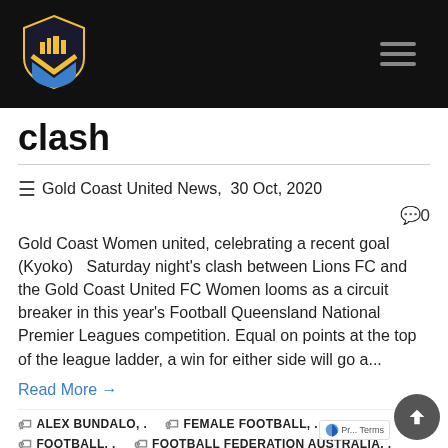[Figure (logo): Gold Coast United FC shield logo with yellow and blue design on black header bar]
clash
Gold Coast United News,  30 Oct, 2020
0
Gold Coast Women united, celebrating a recent goal (Kyoko)   Saturday night's clash between Lions FC and the Gold Coast United FC Women looms as a circuit breaker in this year's Football Queensland National Premier Leagues competition. Equal on points at the top of the league ladder, a win for either side will go a...
Read More →
ALEX BUNDALO, .
FEMALE FOOTBALL, .
FOOTBALL, .
FOOTBALL FEDERATION AUSTRALIA, .
FOOTBALL QUEENSLAND